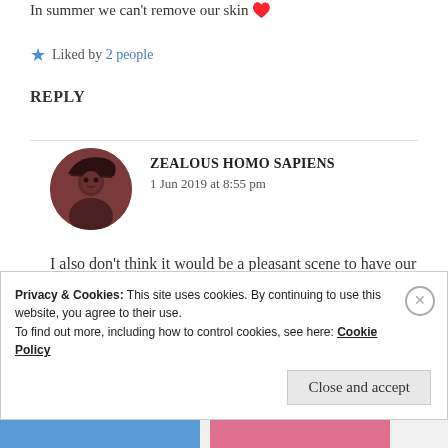In summer we can't remove our skin 😍
★ Liked by 2 people
REPLY
ZEALOUS HOMO SAPIENS
1 Jun 2019 at 8:55 pm
I also don't think it would be a pleasant scene to have our skin removed. 😛
Privacy & Cookies: This site uses cookies. By continuing to use this website, you agree to their use.
To find out more, including how to control cookies, see here: Cookie Policy
Close and accept